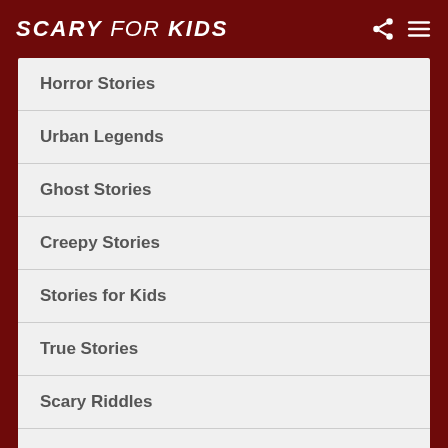SCARY FOR KIDS
Horror Stories
Urban Legends
Ghost Stories
Creepy Stories
Stories for Kids
True Stories
Scary Riddles
Short Stories
Halloween Stories
Spooky Stories